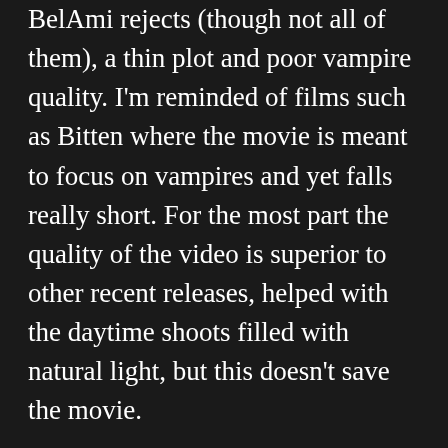BelAmi rejects (though not all of them), a thin plot and poor vampire quality. I'm reminded of films such as Bitten where the movie is meant to focus on vampires and yet falls really short. For the most part the quality of the video is superior to other recent releases, helped with the daytime shoots filled with natural light, but this doesn't save the movie.
Quite simply I was disappointed by Twinkula and don't recommend it. See it at AEBN (if you don't believe me)